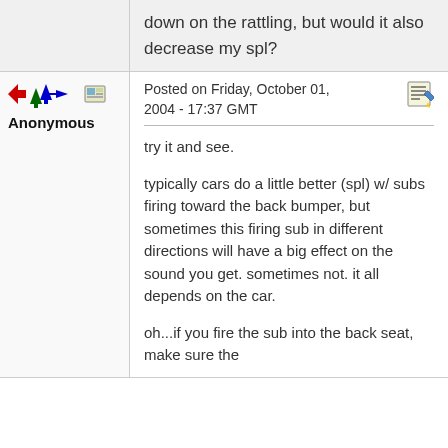down on the rattling, but would it also decrease my spl?
Posted on Friday, October 01, 2004 - 17:37 GMT
Anonymous
try it and see.

typically cars do a little better (spl) w/ subs firing toward the back bumper, but sometimes this firing sub in different directions will have a big effect on the sound you get. sometimes not. it all depends on the car.

oh...if you fire the sub into the back seat, make sure the